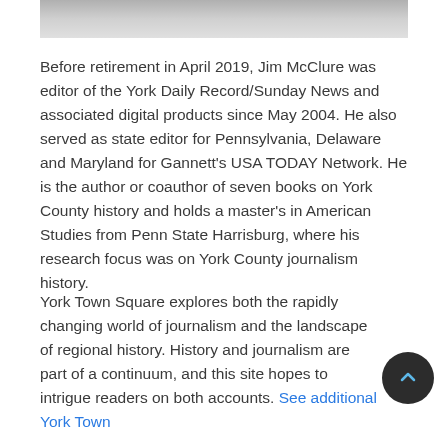[Figure (photo): Partial photo of a person, cropped at top of page]
Before retirement in April 2019, Jim McClure was editor of the York Daily Record/Sunday News and associated digital products since May 2004. He also served as state editor for Pennsylvania, Delaware and Maryland for Gannett's USA TODAY Network. He is the author or coauthor of seven books on York County history and holds a master's in American Studies from Penn State Harrisburg, where his research focus was on York County journalism history.
York Town Square explores both the rapidly changing world of journalism and the landscape of regional history. History and journalism are part of a continuum, and this site hopes to intrigue readers on both accounts. See additional York Town